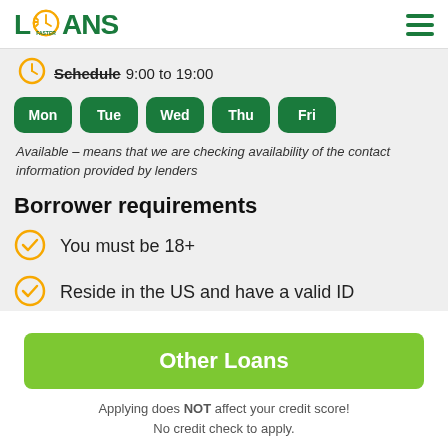LOANS FASTER
Schedule 9:00 to 19:00
[Figure (infographic): Day-of-week availability buttons: Mon, Tue, Wed, Thu, Fri — all shown as green rounded rectangles]
Available – means that we are checking availability of the contact information provided by lenders
Borrower requirements
You must be 18+
Reside in the US and have a valid ID
Other Loans
Applying does NOT affect your credit score! No credit check to apply.